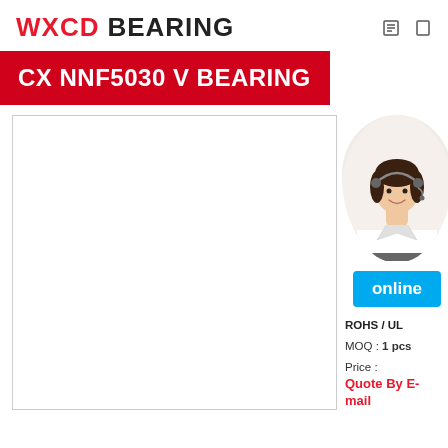WXCD BEARING
CX NNF5030 V BEARING
[Figure (photo): Product image placeholder box with light border]
[Figure (photo): Customer service representative, woman in white shirt with headset, smiling, upper body visible in circular crop]
online
ROHS / UL
MOQ : 1 pcs
Price :
Quote By E-mail